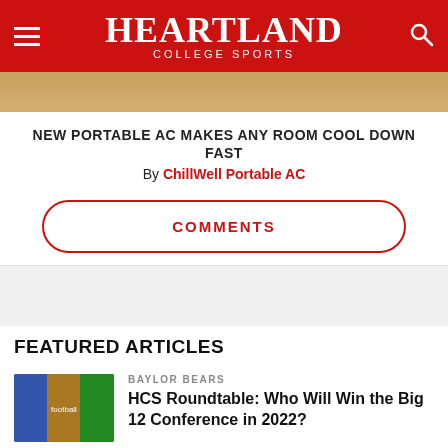Heartland College Sports
[Figure (photo): Partial photo of athlete, cropped, color image strip]
NEW PORTABLE AC MAKES ANY ROOM COOL DOWN FAST
By ChillWell Portable AC
COMMENTS
FEATURED ARTICLES
[Figure (photo): Three football player photos side by side, Baylor Bears]
BAYLOR BEARS
HCS Roundtable: Who Will Win the Big 12 Conference in 2022?
[Figure (photo): Oklahoma Sooners football players photo]
OKLAHOMA SOONERS
Six Oklahoma Offensive Linemen Sign NIL